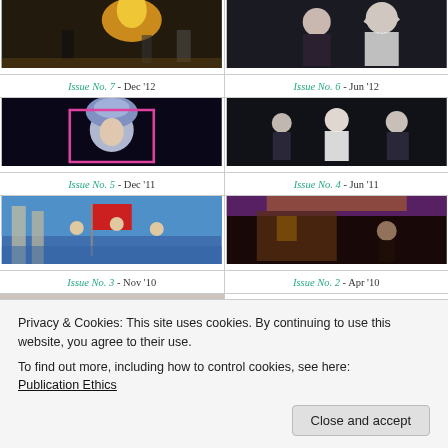[Figure (photo): Theater performance with fire, golden light, robotic figure on stage]
Issue No. 7 - Dec '12
[Figure (photo): Two performers on stage, woman in foreground, man behind in suit]
Issue No. 6 - Jun '12
[Figure (photo): Chinese opera performer in elaborate blue and white headdress with pink geometric frame]
Issue No. 5 - Dec '11
[Figure (photo): Theater scene with performers in suits and white outfit on dark stage]
Issue No. 4 - Jun '11
[Figure (photo): Dancers with red flag performing outdoors with blue sky and columns]
Issue No. 3 - Nov '10
[Figure (photo): Performers in dim amber/purple light on stage with building facade]
Issue No. 2 - Apr '10
Privacy & Cookies: This site uses cookies. By continuing to use this website, you agree to their use.
To find out more, including how to control cookies, see here: Publication Ethics